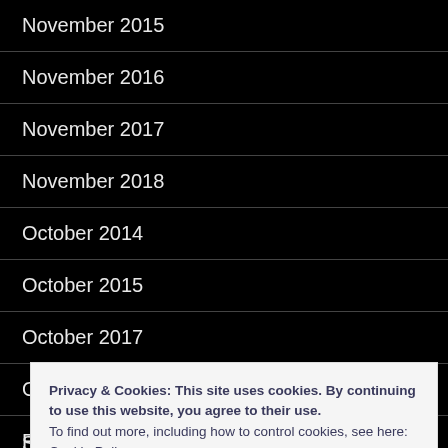November 2015
November 2016
November 2017
November 2018
October 2014
October 2015
October 2017
October 2019
Rifflandia
Privacy & Cookies: This site uses cookies. By continuing to use this website, you agree to their use.
To find out more, including how to control cookies, see here: Cookie Policy
September 2014